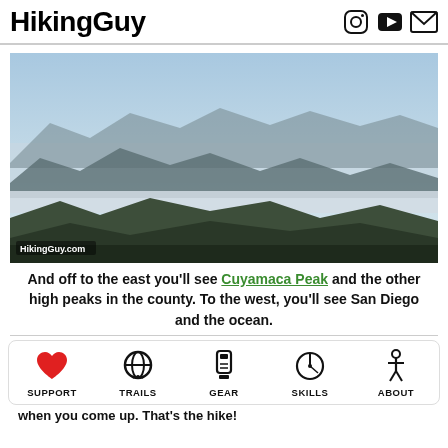HikingGuy
[Figure (photo): Panoramic view from a mountain summit showing layered ridgelines fading into hazy distance, with mountains visible under low clouds. Watermark 'HikingGuy.com' in lower-left.]
And off to the east you'll see Cuyamaca Peak and the other high peaks in the county. To the west, you'll see San Diego and the ocean.
[Figure (infographic): Navigation bar with icons: Support (heart), Trails (globe/map), Gear (GPS device), Skills (compass), About (hiker silhouette)]